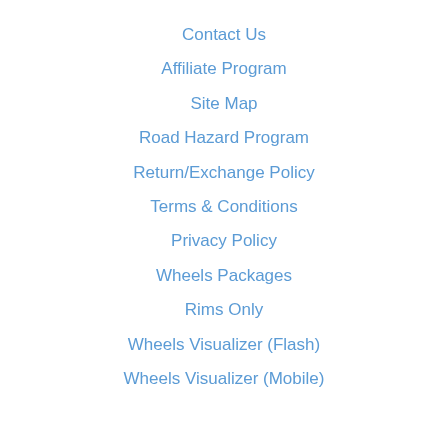Contact Us
Affiliate Program
Site Map
Road Hazard Program
Return/Exchange Policy
Terms & Conditions
Privacy Policy
Wheels Packages
Rims Only
Wheels Visualizer (Flash)
Wheels Visualizer (Mobile)